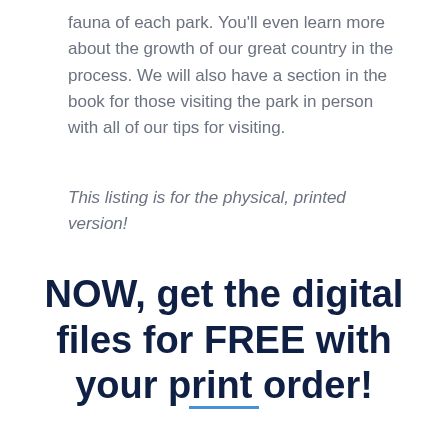fauna of each park. You'll even learn more about the growth of our great country in the process. We will also have a section in the book for those visiting the park in person with all of our tips for visiting.
This listing is for the physical, printed version!
NOW, get the digital files for FREE with your print order!